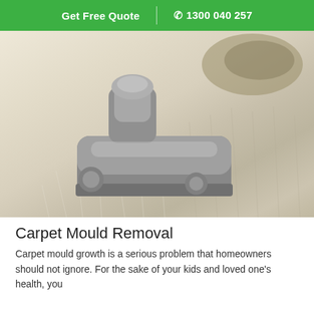Get Free Quote | 1300 040 257
[Figure (photo): A vacuum cleaner head cleaning a shaggy beige carpet, with a dirty mould spot visible in the upper right area of the carpet.]
Carpet Mould Removal
Carpet mould growth is a serious problem that homeowners should not ignore. For the sake of your kids and loved one's health, you